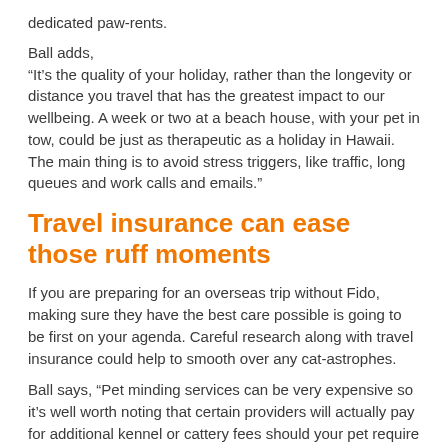dedicated paw-rents.
Ball adds,
“It’s the quality of your holiday, rather than the longevity or distance you travel that has the greatest impact to our wellbeing. A week or two at a beach house, with your pet in tow, could be just as therapeutic as a holiday in Hawaii. The main thing is to avoid stress triggers, like traffic, long queues and work calls and emails.”
Travel insurance can ease those ruff moments
If you are preparing for an overseas trip without Fido, making sure they have the best care possible is going to be first on your agenda. Careful research along with travel insurance could help to smooth over any cat-astrophes.
Ball says, “Pet minding services can be very expensive so it’s well worth noting that certain providers will actually pay for additional kennel or cattery fees should your pet require extended boarding due to unforeseen circumstances.”